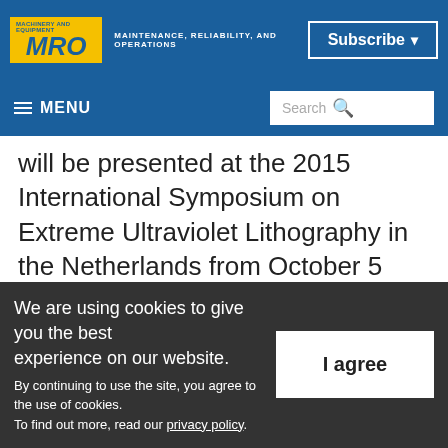MRO — MAINTENANCE, RELIABILITY, AND OPERATIONS | Subscribe
≡ MENU | Search
will be presented at the 2015 International Symposium on Extreme Ultraviolet Lithography in the Netherlands from October 5 through 7, 2015. Gigaphoton is one of the sponsors of the symposium.
This milestone was achieved as part of a
We are using cookies to give you the best experience on our website. By continuing to use the site, you agree to the use of cookies. To find out more, read our privacy policy.